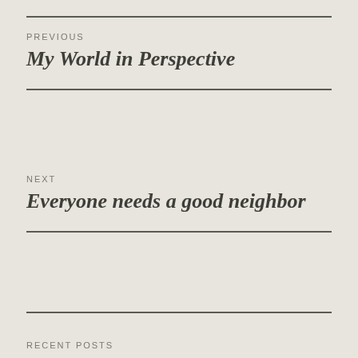PREVIOUS
My World in Perspective
NEXT
Everyone needs a good neighbor
RECENT POSTS